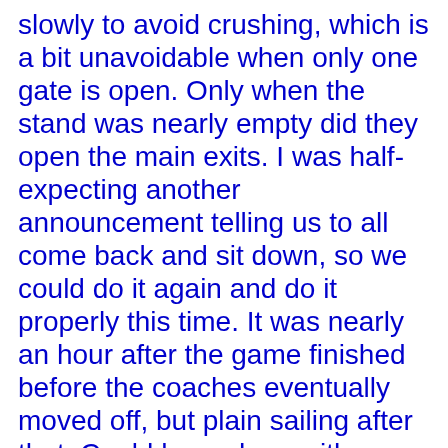slowly to avoid crushing, which is a bit unavoidable when only one gate is open. Only when the stand was nearly empty did they open the main exits. I was half-expecting another announcement telling us to all come back and sit down, so we could do it again and do it properly this time. It was nearly an hour after the game finished before the coaches eventually moved off, but plain sailing after that. Could have done with a better draw than Villa away - guess that means another Sunday or (even worse) Monday game.
Scores
Martyn 7 - Picked the ball out of the net a couple of times not too much else to do.
Kelly 7 - Pretty solid game, as per usual.
Harte 7 - More of a threat in the box from corners than when he's taking them, bit shaky defensively.
Lucas and Woody 7 - Not really at their best, often faffing around when they just needed to get rid but resumed normal service in the 2nd half.
McPhail 8 - Good game most of our good movements went through him, some good delivery from set pieces as well.
Bakke 7 - Solid, unspectacular.
Bowyer 9 - Showed what we missed last week, ran everywhere constantly gave others options, good finish for